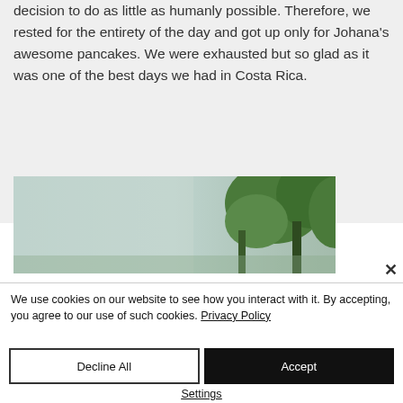decision to do as little as humanly possible. Therefore, we rested for the entirety of the day and got up only for Johana's awesome pancakes. We were exhausted but so glad as it was one of the best days we had in Costa Rica.
[Figure (photo): A misty forest scene with green trees visible through fog]
We use cookies on our website to see how you interact with it. By accepting, you agree to our use of such cookies. Privacy Policy
Decline All
Accept
Settings